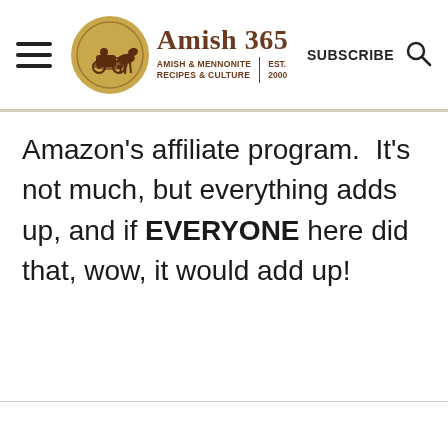[Figure (logo): Amish 365 website header with hamburger menu icon on left, circular logo with horse and buggy silhouette in gold, 'Amish 365' text in serif brown font, subtitle 'Amish & Mennonite Recipes & Culture | Est. 2000', SUBSCRIBE button, and search icon]
Amazon's affiliate program.  It's not much, but everything adds up, and if EVERYONE here did that, wow, it would add up!